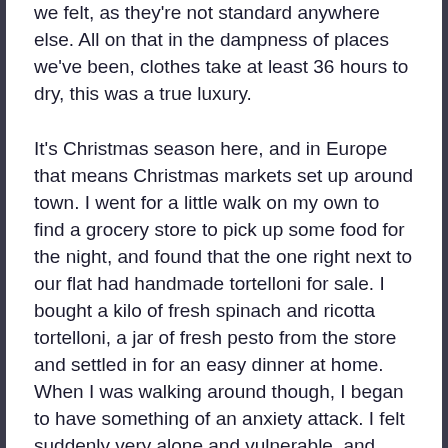we felt, as they're not standard anywhere else. All on that in the dampness of places we've been, clothes take at least 36 hours to dry, this was a true luxury.
It's Christmas season here, and in Europe that means Christmas markets set up around town. I went for a little walk on my own to find a grocery store to pick up some food for the night, and found that the one right next to our flat had handmade tortelloni for sale. I bought a kilo of fresh spinach and ricotta tortelloni, a jar of fresh pesto from the store and settled in for an easy dinner at home. When I was walking around though, I began to have something of an anxiety attack. I felt suddenly very alone and vulnerable, and scared. I had no reason to feel this way – there were plenty of families milling about and I didn't feel in danger of my safety or anything, just…nervous. It felt strange to me, as I've traveled solo quite a bit in the past. I remembered the same